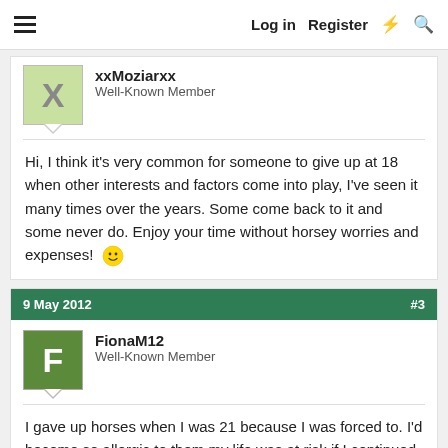Log in   Register
xxMoziarxx
Well-Known Member
Hi, I think it's very common for someone to give up at 18 when other interests and factors come into play, I've seen it many times over the years. Some come back to it and some never do. Enjoy your time without horsey worries and expenses! 🙂
9 May 2012   #3
FionaM12
Well-Known Member
I gave up horses when I was 21 because I was forced to. I'd become so allergic to them my life was at risk if I continued. I had a horse, Bamber, but I'd been too ill to look after him myself for some time by then and relied on friends. I gave him to one of those friends.